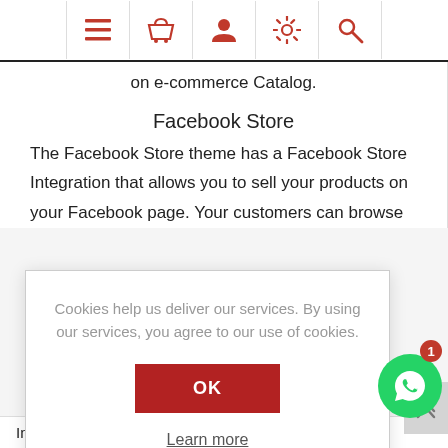[Figure (screenshot): Top navigation bar with red icons: hamburger menu, basket, user, settings/gear, search]
on e-commerce Catalog.
Facebook Store
The Facebook Store theme has a Facebook Store Integration that allows you to sell your products on your Facebook page. Your customers can browse
Cookies help us deliver our services. By using our services, you agree to our use of cookies.
OK
Learn more
Instagram Facebook, Twitter, Pinterest, Instagram